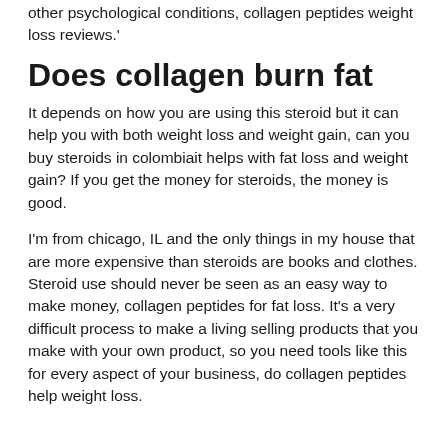other psychological conditions, collagen peptides weight loss reviews.'
Does collagen burn fat
It depends on how you are using this steroid but it can help you with both weight loss and weight gain, can you buy steroids in colombiait helps with fat loss and weight gain? If you get the money for steroids, the money is good.
I'm from chicago, IL and the only things in my house that are more expensive than steroids are books and clothes. Steroid use should never be seen as an easy way to make money, collagen peptides for fat loss. It's a very difficult process to make a living selling products that you make with your own product, so you need tools like this for every aspect of your business, do collagen peptides help weight loss.